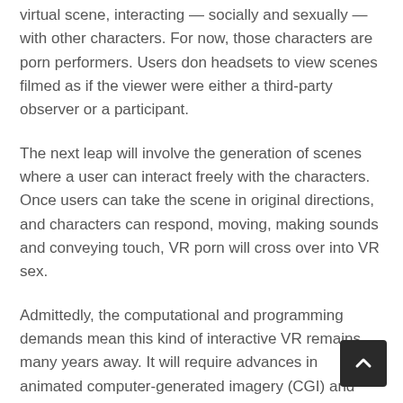virtual scene, interacting — socially and sexually — with other characters. For now, those characters are porn performers. Users don headsets to view scenes filmed as if the viewer were either a third-party observer or a participant.
The next leap will involve the generation of scenes where a user can interact freely with the characters. Once users can take the scene in original directions, and characters can respond, moving, making sounds and conveying touch, VR porn will cross over into VR sex.
Admittedly, the computational and programming demands mean this kind of interactive VR remains many years away. It will require advances in animated computer-generated imagery (CGI) and audio, allowing visuals to be generated the fly. Characters will need to know what to do and say, and how to move, to make the scene interactive. That involves building responsive AI personalities that can learn about a user, infer what they might enjoy, and turn that into video,